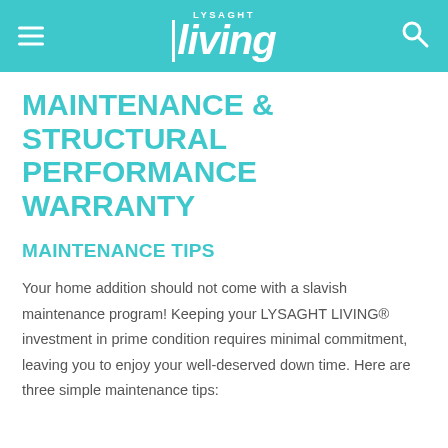LYSAGHT living
MAINTENANCE & STRUCTURAL PERFORMANCE WARRANTY
MAINTENANCE TIPS
Your home addition should not come with a slavish maintenance program! Keeping your LYSAGHT LIVING® investment in prime condition requires minimal commitment, leaving you to enjoy your well-deserved down time. Here are three simple maintenance tips: